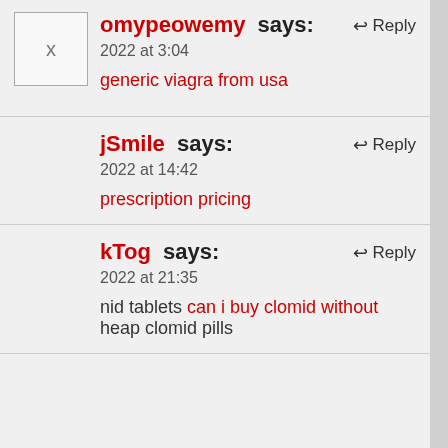omypeowemy says: [Reply]
2022 at 3:04
generic viagra from usa
jSmile says: [Reply]
2022 at 14:42
prescription pricing
kTog says: [Reply]
2022 at 21:35
nid tablets can i buy clomid without heap clomid pills